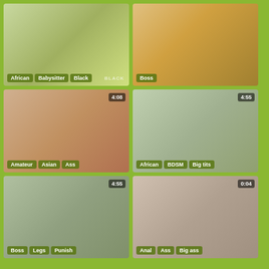[Figure (photo): Video thumbnail grid cell 1 - tags: African, Babysitter, Black]
[Figure (photo): Video thumbnail grid cell 2 - tags: Boss]
[Figure (photo): Video thumbnail grid cell 3 - duration 4:08 - tags: Amateur, Asian, Ass]
[Figure (photo): Video thumbnail grid cell 4 - duration 4:55 - tags: African, BDSM, Big tits]
[Figure (photo): Video thumbnail grid cell 5 - duration 4:55 - tags: Boss, Legs, Punish]
[Figure (photo): Video thumbnail grid cell 6 - duration 0:04 - tags: Anal, Ass, Big ass]